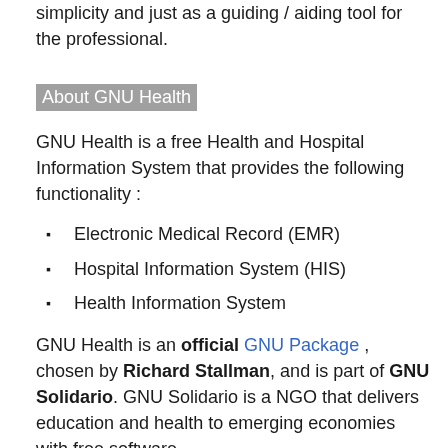simplicity and just as a guiding / aiding tool for the professional.
About GNU Health
GNU Health is a free Health and Hospital Information System that provides the following functionality :
Electronic Medical Record (EMR)
Hospital Information System (HIS)
Health Information System
GNU Health is an official GNU Package , chosen by Richard Stallman, and is part of GNU Solidario. GNU Solidario is a NGO that delivers education and health to emerging economies with free software.
GNU Health is the Hospital Information System chosen